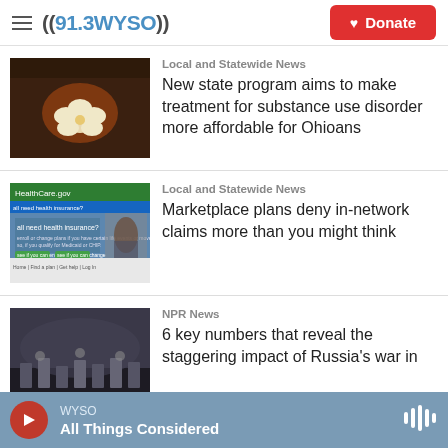((91.3WYSO)) Donate
[Figure (photo): Close-up photo of white flower on dark background]
Local and Statewide News
New state program aims to make treatment for substance use disorder more affordable for Ohioans
[Figure (screenshot): Screenshot of HealthCare.gov website showing health insurance enrollment page]
Local and Statewide News
Marketplace plans deny in-network claims more than you might think
[Figure (photo): Photo of soldiers at a military ceremony or gathering]
NPR News
6 key numbers that reveal the staggering impact of Russia's war in
WYSO All Things Considered